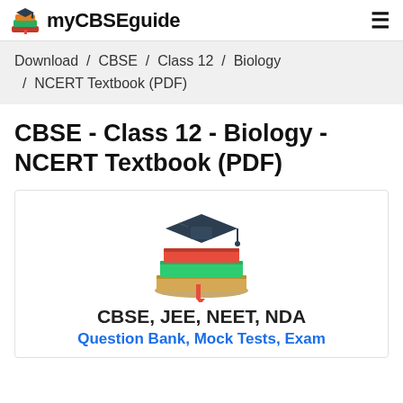myCBSEguide
Download / CBSE / Class 12 / Biology / NCERT Textbook (PDF)
CBSE - Class 12 - Biology - NCERT Textbook (PDF)
[Figure (illustration): Stack of colorful books with a graduation cap on top — myCBSEguide logo/mascot illustration]
CBSE, JEE, NEET, NDA
Question Bank, Mock Tests, Exam